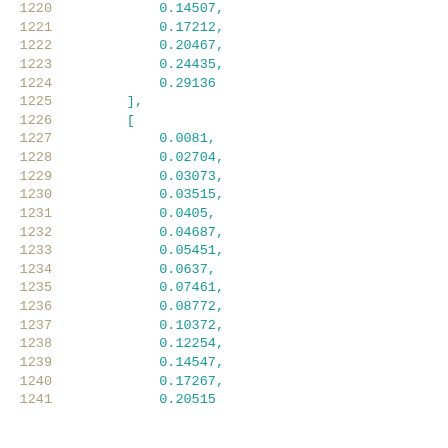1220    0.14507,
1221    0.17212,
1222    0.20467,
1223    0.24435,
1224    0.29136
1225    ],
1226    [
1227        0.0081,
1228        0.02704,
1229        0.03073,
1230        0.03515,
1231        0.0405,
1232        0.04687,
1233        0.05451,
1234        0.0637,
1235        0.07461,
1236        0.08772,
1237        0.10372,
1238        0.12254,
1239        0.14547,
1240        0.17267,
1241        0.20515